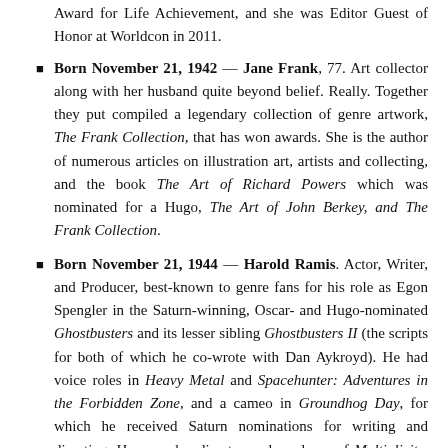Award for Life Achievement, and she was Editor Guest of Honor at Worldcon in 2011.
Born November 21, 1942 — Jane Frank, 77. Art collector along with her husband quite beyond belief. Really. Together they put compiled a legendary collection of genre artwork, The Frank Collection, that has won awards. She is the author of numerous articles on illustration art, artists and collecting, and the book The Art of Richard Powers which was nominated for a Hugo, The Art of John Berkey, and The Frank Collection.
Born November 21, 1944 — Harold Ramis. Actor, Writer, and Producer, best-known to genre fans for his role as Egon Spengler in the Saturn-winning, Oscar- and Hugo-nominated Ghostbusters and its lesser sibling Ghostbusters II (the scripts for both of which he co-wrote with Dan Aykroyd). He had voice roles in Heavy Metal and Spacehunter: Adventures in the Forbidden Zone, and a cameo in Groundhog Day, for which he received Saturn nominations for writing and directing. He was also director and producer of Multiplicity. (Died 2014.)